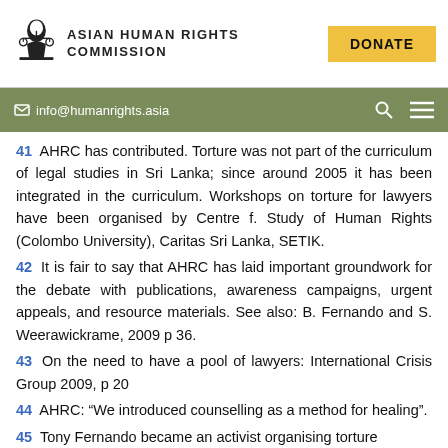ASIAN HUMAN RIGHTS COMMISSION | DONATE | info@humanrights.asia
41 AHRC has contributed. Torture was not part of the curriculum of legal studies in Sri Lanka; since around 2005 it has been integrated in the curriculum. Workshops on torture for lawyers have been organised by Centre f. Study of Human Rights (Colombo University), Caritas Sri Lanka, SETIK.
42 It is fair to say that AHRC has laid important groundwork for the debate with publications, awareness campaigns, urgent appeals, and resource materials. See also: B. Fernando and S. Weerawickrame, 2009 p 36.
43 On the need to have a pool of lawyers: International Crisis Group 2009, p 20
44 AHRC: “We introduced counselling as a method for healing”.
45 Tony Fernando became an activist organising torture